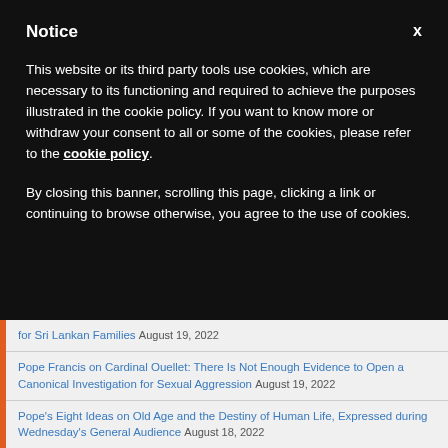Notice
This website or its third party tools use cookies, which are necessary to its functioning and required to achieve the purposes illustrated in the cookie policy. If you want to know more or withdraw your consent to all or some of the cookies, please refer to the cookie policy.
By closing this banner, scrolling this page, clicking a link or continuing to browse otherwise, you agree to the use of cookies.
for Sri Lankan Families August 19, 2022
Pope Francis on Cardinal Ouellet: There Is Not Enough Evidence to Open a Canonical Investigation for Sexual Aggression August 19, 2022
Pope's Eight Ideas on Old Age and the Destiny of Human Life, Expressed during Wednesday's General Audience August 18, 2022
"Pope's Visit to Ukraine Continues in Negotiation," Says Ukraine's Ambassador to the Holy See